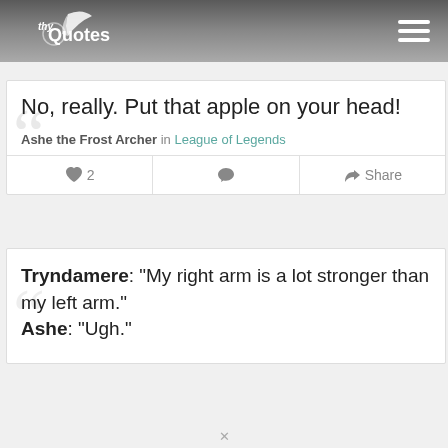thyQuotes [hamburger menu]
No, really. Put that apple on your head!
Ashe the Frost Archer in League of Legends
❤ 2  💬  Share
Tryndamere: "My right arm is a lot stronger than my left arm." Ashe: "Ugh."